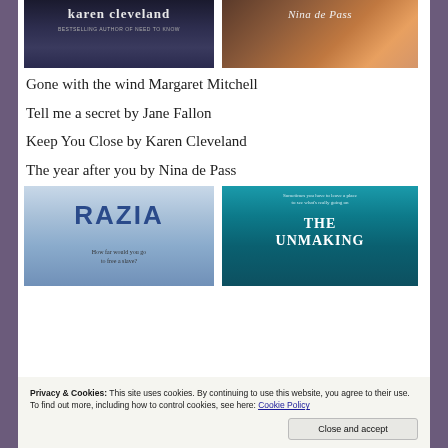[Figure (photo): Two book covers side by side at top: left shows 'karen cleveland' with subtitle 'BESTSELLING AUTHOR OF NEED TO KNOW', right shows 'Nina de Pass' book cover with warm brown/orange tones]
Gone with the wind Margaret Mitchell
Tell me a secret by Jane Fallon
Keep You Close by Karen Cleveland
The year after you by Nina de Pass
[Figure (photo): Two book covers side by side: left shows 'RAZIA' with subtitle 'How far would you go to free a slave?' on cloudy blue background, right shows 'THE UNMAKING' on teal/underwater blue background with tagline 'Sometimes you have to leave a place to see what's really going on']
Privacy & Cookies: This site uses cookies. By continuing to use this website, you agree to their use.
To find out more, including how to control cookies, see here: Cookie Policy
Close and accept